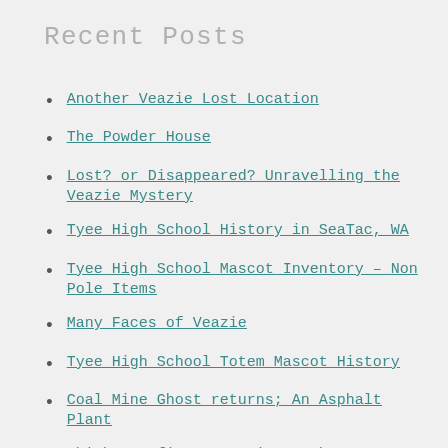Recent Posts
Another Veazie Lost Location
The Powder House
Lost? or Disappeared? Unravelling the Veazie Mystery
Tyee High School History in SeaTac, WA
Tyee High School Mascot Inventory – Non Pole Items
Many Faces of Veazie
Tyee High School Totem Mascot History
Coal Mine Ghost returns; An Asphalt Plant
Which was first? Veazie or the